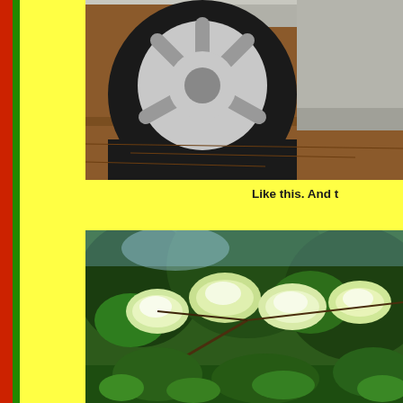[Figure (photo): Close-up photo of a car wheel/tire with silver alloy rim, parked on reddish-brown dirt/mulch ground. Part of the silver car body visible on the right.]
Like this. And t
[Figure (photo): Photo of green tree branches and leaves with bright white-highlighted leaves in the foreground, dense green forest in the background.]